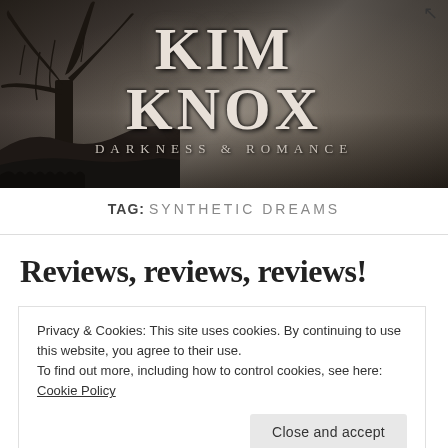[Figure (illustration): Dark moody banner image with silhouetted tree on left, misty landscape background in sepia/grey tones. Large text reads KIM KNOX with subtitle DARKNESS & ROMANCE.]
TAG: SYNTHETIC DREAMS
Reviews, reviews, reviews!
Privacy & Cookies: This site uses cookies. By continuing to use this website, you agree to their use.
To find out more, including how to control cookies, see here: Cookie Policy
Close and accept